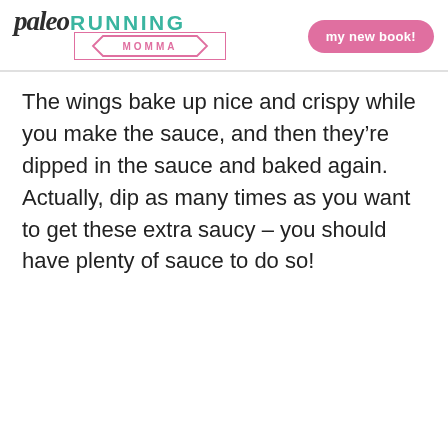paleo RUNNING MOMMA | my new book!
The wings bake up nice and crispy while you make the sauce, and then they’re dipped in the sauce and baked again.   Actually, dip as many times as you want to get these extra saucy – you should have plenty of sauce to do so!